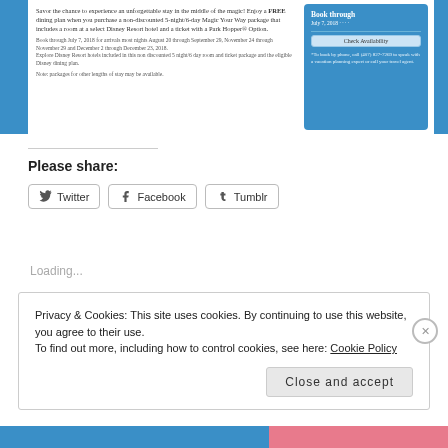Savor the chance to experience an unforgettable stay in the middle of the magic! Enjoy a FREE dining plan when you purchase a non-discounted 5-night/6-day Magic Your Way package that includes a room at a select Disney Resort hotel and a ticket with a Park Hopper® Option.
Book through July 7, 2018 for arrivals most nights August 20 through September 29, November 24 through November 29 and December 2 through December 23, 2018. Explore Disney Resort hotels included in this non discounted 5 night/6 day room and ticket package and the eligible Disney dining plan.
Note: packages for other lengths of stay may be available.
[Figure (other): Blue booking box with 'Book through July 7, 2018' header, a 'Check Availability' button, and a note about booking by phone.]
Please share:
Twitter  Facebook  Tumblr
Loading...
Privacy & Cookies: This site uses cookies. By continuing to use this website, you agree to their use. To find out more, including how to control cookies, see here: Cookie Policy
Close and accept